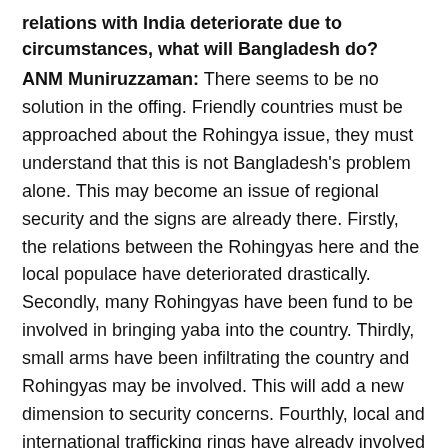relations with India deteriorate due to circumstances, what will Bangladesh do?
ANM Muniruzzaman: There seems to be no solution in the offing. Friendly countries must be approached about the Rohingya issue, they must understand that this is not Bangladesh's problem alone. This may become an issue of regional security and the signs are already there. Firstly, the relations between the Rohingyas here and the local populace have deteriorated drastically. Secondly, many Rohingyas have been fund to be involved in bringing yaba into the country. Thirdly, small arms have been infiltrating the country and Rohingyas may be involved. This will add a new dimension to security concerns. Fourthly, local and international trafficking rings have already involved Rohingyas in human trafficking and have been successful in doing so. This is alarming. If we fall into the US category of human trafficking, we will face all sorts of sanctions.